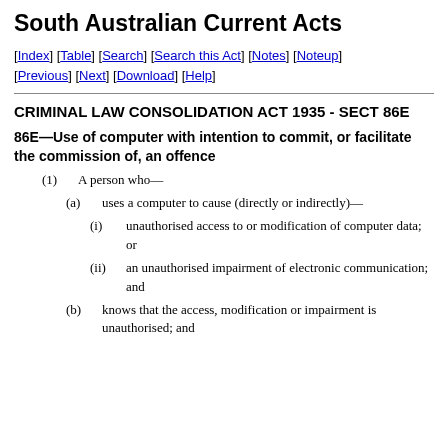South Australian Current Acts
[Index] [Table] [Search] [Search this Act] [Notes] [Noteup] [Previous] [Next] [Download] [Help]
CRIMINAL LAW CONSOLIDATION ACT 1935 - SECT 86E
86E—Use of computer with intention to commit, or facilitate the commission of, an offence
(1) A person who—
(a) uses a computer to cause (directly or indirectly)—
(i) unauthorised access to or modification of computer data; or
(ii) an unauthorised impairment of electronic communication; and
(b) knows that the access, modification or impairment is unauthorised; and